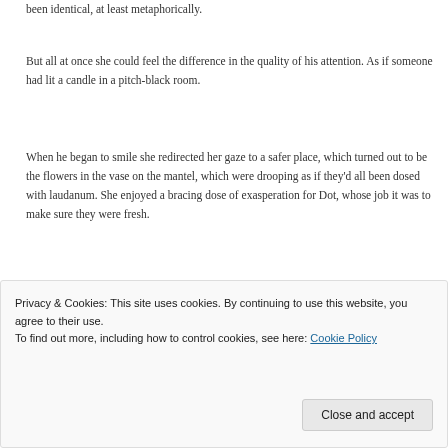been identical, at least metaphorically.
But all at once she could feel the difference in the quality of his attention. As if someone had lit a candle in a pitch-black room.
When he began to smile she redirected her gaze to a safer place, which turned out to be the flowers in the vase on the mantel, which were drooping as if they'd all been dosed with laudanum. She enjoyed a bracing dose of exasperation for Dot, whose job it was to make sure they were fresh.
Where the devil was Dot?
Privacy & Cookies: This site uses cookies. By continuing to use this website, you agree to their use.
To find out more, including how to control cookies, see here: Cookie Policy
Close and accept